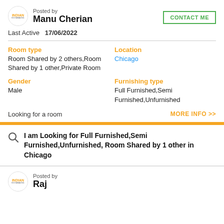Posted by
Manu Cherian
CONTACT ME
Last Active  17/06/2022
Room type
Room Shared by 2 others,Room Shared by 1 other,Private Room
Location
Chicago
Gender
Male
Furnishing type
Full Furnished,Semi Furnished,Unfurnished
Looking for a room
MORE INFO >>
I am Looking for Full Furnished,Semi Furnished,Unfurnished, Room Shared by 1 other in Chicago
Posted by
Raj